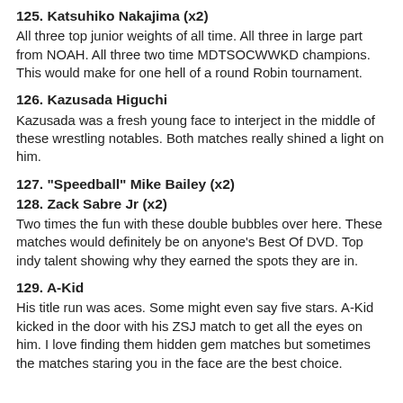125. Katsuhiko Nakajima (x2)
All three top junior weights of all time. All three in large part from NOAH. All three two time MDTSOCWWKD champions. This would make for one hell of a round Robin tournament.
126. Kazusada Higuchi
Kazusada was a fresh young face to interject in the middle of these wrestling notables. Both matches really shined a light on him.
127. "Speedball" Mike Bailey (x2)
128. Zack Sabre Jr (x2)
Two times the fun with these double bubbles over here. These matches would definitely be on anyone's Best Of DVD. Top indy talent showing why they earned the spots they are in.
129. A-Kid
His title run was aces. Some might even say five stars. A-Kid kicked in the door with his ZSJ match to get all the eyes on him. I love finding them hidden gem matches but sometimes the matches staring you in the face are the best choice.